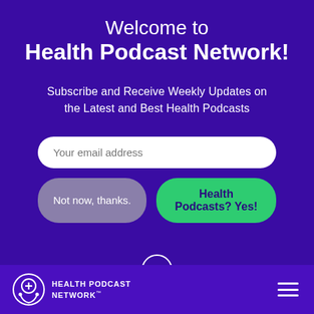Welcome to Health Podcast Network!
Subscribe and Receive Weekly Updates on the Latest and Best Health Podcasts
[Figure (screenshot): Email subscription form with placeholder text 'Your email address', a 'Not now, thanks' dismiss button, and a green 'Health Podcasts? Yes!' submit button]
[Figure (other): Chevron down arrow circle icon for scrolling]
HEALTH PODCAST NETWORK™